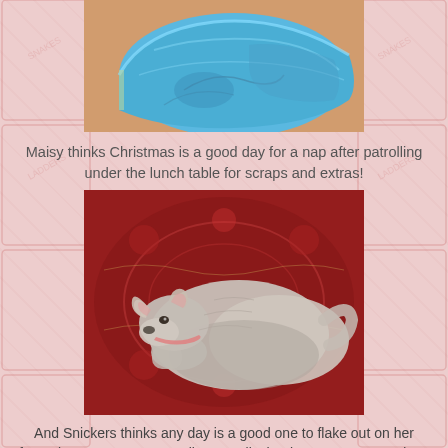[Figure (photo): Photo of a swimming pool with blue water and tiled surround, viewed from above]
Maisy thinks Christmas is a good day for a nap after patrolling under the lunch table for scraps and extras!
[Figure (photo): Photo of a small grey dog (Maisy) curled up and resting on a red patterned rug/carpet]
And Snickers thinks any day is a good one to flake out on her favourite ottoman on my quilt - actually that is MY ottoman and my favourite chair but don't tell the DOG!!!
[Figure (photo): Partial photo at bottom of page, cut off]